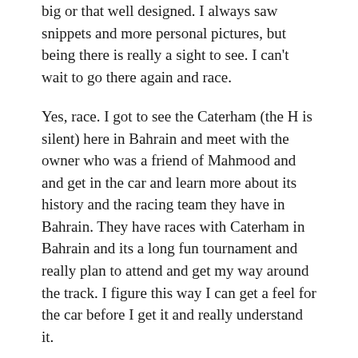big or that well designed. I always saw snippets and more personal pictures, but being there is really a sight to see. I can't wait to go there again and race.
Yes, race. I got to see the Caterham (the H is silent) here in Bahrain and meet with the owner who was a friend of Mahmood and and get in the car and learn more about its history and the racing team they have in Bahrain. They have races with Caterham in Bahrain and its a long fun tournament and really plan to attend and get my way around the track. I figure this way I can get a feel for the car before I get it and really understand it.
Turn your pictures to Polaroid style ones with Polaroid-o-nizer™
This trip is a vacation of sorts to get a change of scenery and relax and I can't sleep. It is odd. I am in